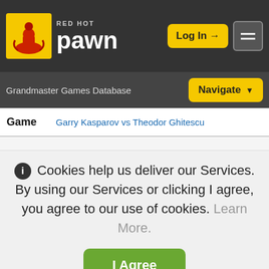[Figure (logo): Red Hot Pawn chess website logo with chess pawn icon and site name]
Grandmaster Games Database
| Game |  |
| --- | --- |
| Game | Garry Kasparov vs Theodor Ghitescu |
Cookies help us deliver our Services. By using our Services or clicking I agree, you agree to our use of cookies. Learn More.